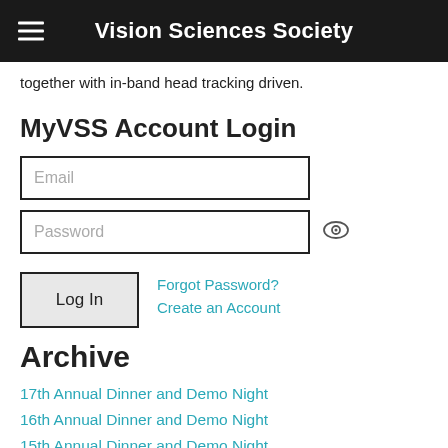Vision Sciences Society
together with in-band head tracking driven.
MyVSS Account Login
[Figure (screenshot): Email input field, password input field with eye icon, Log In button, Forgot Password? and Create an Account links]
Archive
17th Annual Dinner and Demo Night
16th Annual Dinner and Demo Night
15th Annual Dinner and Demo Night
14th Annual Dinner and Demo Night
13th Annual Dinner and Demo Night
12th Annual Dinner and Demo Night